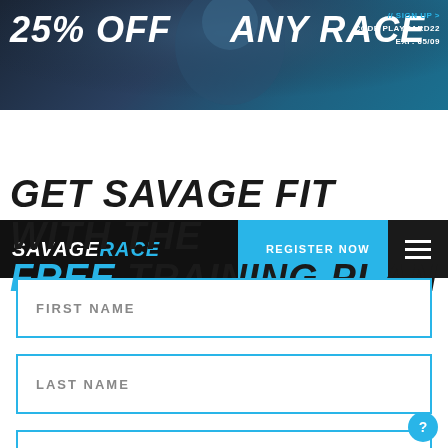[Figure (screenshot): Savage Race promotional banner with '25% OFF ANY RACE' text over an action background photo of a woman running an obstacle course. Includes // SIGN UP > CODE PLAYHARD22 EXP. 05/09 in the top right.]
[Figure (screenshot): Savage Race navigation bar with logo on left, 'REGISTER NOW' button in cyan, and hamburger menu on right.]
GET SAVAGE FIT WITH THE FREE TRAINING PLAN
FIRST NAME
LAST NAME
EMAIL